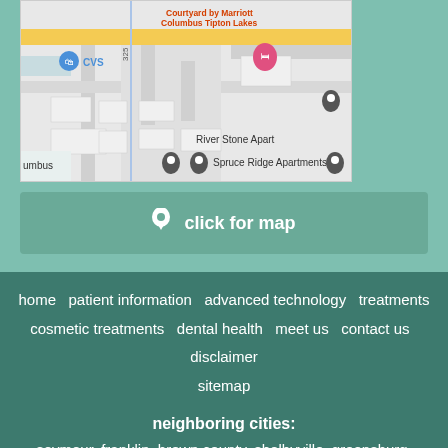[Figure (map): Google Maps screenshot showing area near Columbus Tipton Lakes with Courtyard by Marriott, CVS, River Stone Apartments, and Spruce Ridge Apartments markers visible]
click for map
home  patient information  advanced technology  treatments  cosmetic treatments  dental health  meet us  contact us  disclaimer  sitemap
neighboring cities:
seymour, franklin, brown county, shelbyville, greensburg, bloomington in
dental website design by pbhs © 2022